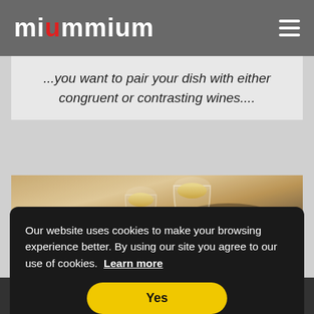miummium
...you want to pair your dish with either congruent or contrasting wines....
[Figure (photo): Wine glasses on a table with blurred background]
Our website uses cookies to make your browsing experience better. By using our site you agree to our use of cookies. Learn more
Yes
If you're lost - match